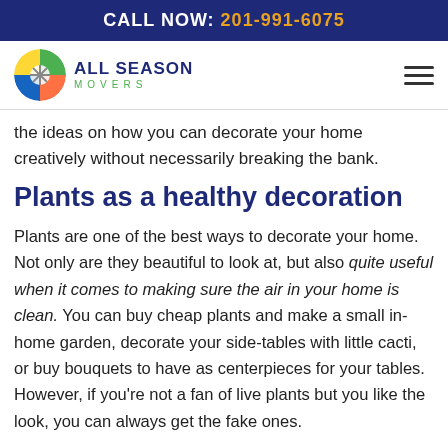CALL NOW: 201-991-6075
[Figure (logo): All Season Movers logo with circular colorful emblem and company name]
the ideas on how you can decorate your home creatively without necessarily breaking the bank.
Plants as a healthy decoration
Plants are one of the best ways to decorate your home. Not only are they beautiful to look at, but also quite useful when it comes to making sure the air in your home is clean. You can buy cheap plants and make a small in-home garden, decorate your side-tables with little cacti, or buy bouquets to have as centerpieces for your tables. However, if you're not a fan of live plants but you like the look, you can always get the fake ones.